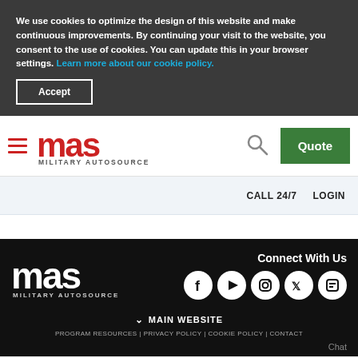We use cookies to optimize the design of this website and make continuous improvements. By continuing your visit to the website, you consent to the use of cookies. You can update this in your browser settings. Learn more about our cookie policy.
Accept
[Figure (logo): MAS Military Autosource logo in navigation header with hamburger menu, search icon, and Quote button]
CALL 24/7   LOGIN
[Figure (logo): MAS Military Autosource white logo in footer]
Connect With Us
[Figure (infographic): Social media icons: Facebook, YouTube, Instagram, Twitter, Blogger]
MAIN WEBSITE
PROGRAM RESOURCES | PRIVACY POLICY | COOKIE POLICY | CONTACT
Chat